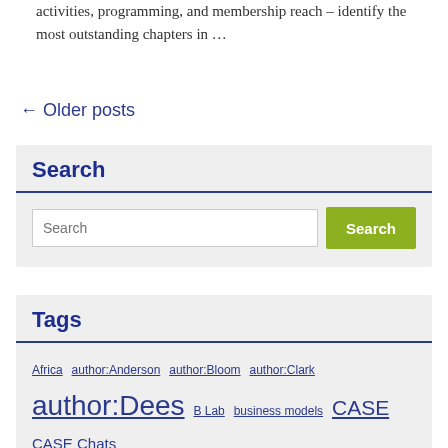activities, programming, and membership reach – identify the most outstanding chapters in …
← Older posts
Search
Search (input field) Search (button)
Tags
Africa author:Anderson author:Bloom author:Clark author:Dees B Lab business models CASE CASE Chats CASE Fellows CASE i3 CASE i3 Fellows CASE news CASE